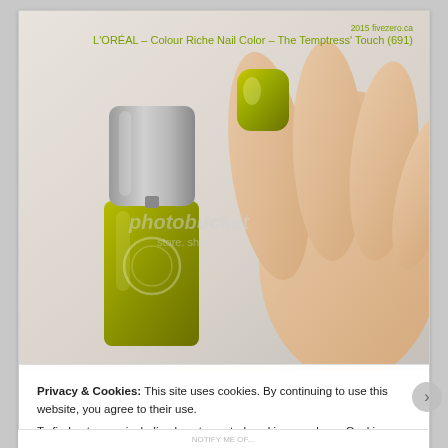[Figure (photo): A hand holding a bottle of L'OREAL Colour Riche Nail Color in The Temptress' Touch (691), an olive/yellow-green shimmer shade. The nail polish bottle is green/gold and the painted nail is visible. A Photobucket watermark is overlaid on the image.]
2015 fivezero.ca
L'ORÉAL – Colour Riche Nail Color – The Temptress' Touch (691)
Privacy & Cookies: This site uses cookies. By continuing to use this website, you agree to their use.
To find out more, including how to control cookies, see here: Cookie Policy
Close and accept